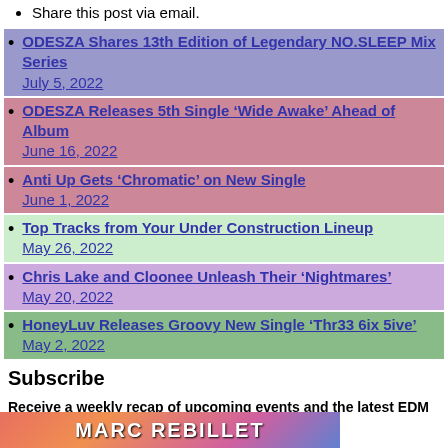Share this post via email.
ODESZA Shares 13th Edition of Legendary NO.SLEEP Mix Series
July 5, 2022
ODESZA Releases 5th Single ‘Wide Awake’ Ahead of Album
June 16, 2022
Anti Up Gets ‘Chromatic’ on New Single
June 1, 2022
Top Tracks from Your Under Construction Lineup
May 26, 2022
Chris Lake and Cloonee Unleash Their ‘Nightmares’
May 20, 2022
HoneyLuv Releases Groovy New Single ‘Thr33 6ix 5ive’
May 2, 2022
Subscribe
Receive a weekly recap of upcoming events and the latest EDM news direct to your inbox.
Subscribe Now
[Figure (photo): Banner image showing MARC REBILLET text over colorful background]